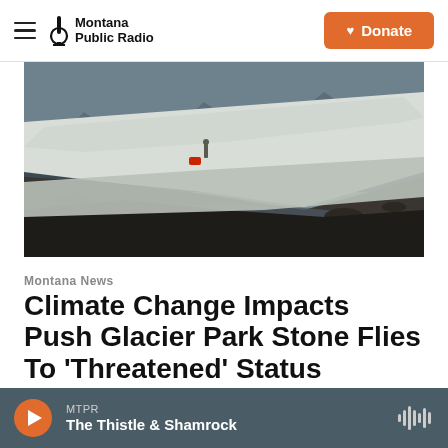Montana Public Radio | Donate
[Figure (photo): A person standing on a large glacier or snowfield with dark rocky terrain and still water visible below, mountains in the background, dramatic close-up of the glacier edge in the foreground.]
Montana News
Climate Change Impacts Push Glacier Park Stone Flies To 'Threatened' Status
MTPR The Thistle & Shamrock